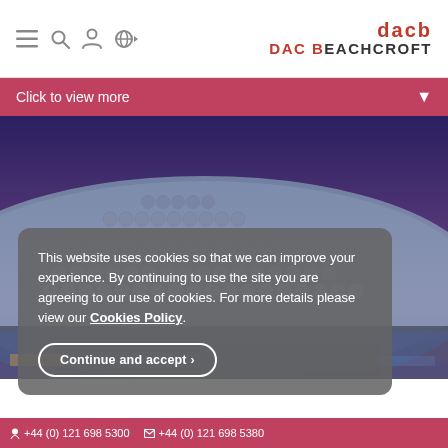DAC BEACHCROFT
Click to view more
[Figure (photo): Hero image of the Birmingham Selfridges building at dusk with blue-purple sky, showing its distinctive disc-covered facade]
This website uses cookies so that we can improve your experience. By continuing to use the site you are agreeing to our use of cookies. For more details please view our Cookies Policy.
Continue and accept ›
+44 (0) 121 698 5300   +44 (0) 121 698 5380